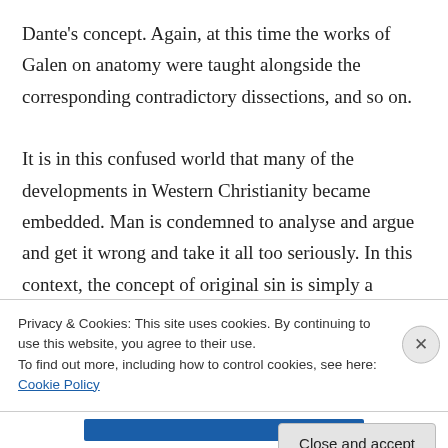Dante's concept. Again, at this time the works of Galen on anatomy were taught alongside the corresponding contradictory dissections, and so on.

It is in this confused world that many of the developments in Western Christianity became embedded. Man is condemned to analyse and argue and get it wrong and take it all too seriously. In this context, the concept of original sin is simply a THEORY to explicate the fall,
Privacy & Cookies: This site uses cookies. By continuing to use this website, you agree to their use.
To find out more, including how to control cookies, see here: Cookie Policy
Close and accept